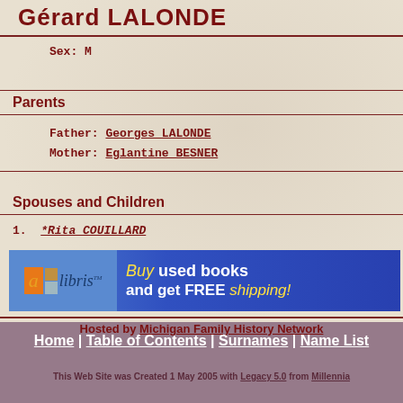Gérard LALONDE
Sex: M
Parents
Father: Georges LALONDE
Mother: Eglantine BESNER
Spouses and Children
1. *Rita COUILLARD
[Figure (other): Alibris advertisement banner: Buy used books and get FREE shipping!]
Hosted by Michigan Family History Network
Home | Table of Contents | Surnames | Name List
This Web Site was Created 1 May 2005 with Legacy 5.0 from Millennia